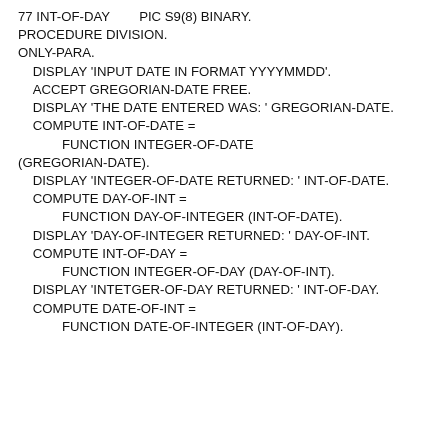77 INT-OF-DAY        PIC S9(8) BINARY.
PROCEDURE DIVISION.
ONLY-PARA.
    DISPLAY 'INPUT DATE IN FORMAT YYYYMMDD'.
    ACCEPT GREGORIAN-DATE FREE.
    DISPLAY 'THE DATE ENTERED WAS: ' GREGORIAN-DATE.
    COMPUTE INT-OF-DATE =
            FUNCTION INTEGER-OF-DATE (GREGORIAN-DATE).
    DISPLAY 'INTEGER-OF-DATE RETURNED: ' INT-OF-DATE.
    COMPUTE DAY-OF-INT =
            FUNCTION DAY-OF-INTEGER (INT-OF-DATE).
    DISPLAY 'DAY-OF-INTEGER RETURNED: ' DAY-OF-INT.
    COMPUTE INT-OF-DAY =
            FUNCTION INTEGER-OF-DAY (DAY-OF-INT).
    DISPLAY 'INTETGER-OF-DAY RETURNED: ' INT-OF-DAY.
    COMPUTE DATE-OF-INT =
            FUNCTION DATE-OF-INTEGER (INT-OF-DAY).